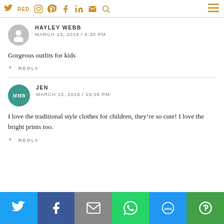Navigation bar with social icons: Twitter, Instagram, Pinterest, Facebook, LinkedIn, Email, Search, and hamburger menu
HAYLEY WEBB
MARCH 13, 2018 / 8:30 PM
Gorgeous outfits for kids
REPLY
JEN
MARCH 13, 2018 / 10:26 PM
I love the traditional style clothes for children, they’re so cute! I love the bright prints too.
REPLY
[Figure (infographic): Bottom share bar with Twitter (blue), Facebook (dark blue), Email (gray), WhatsApp (green), SMS (blue), and More (green) share buttons]